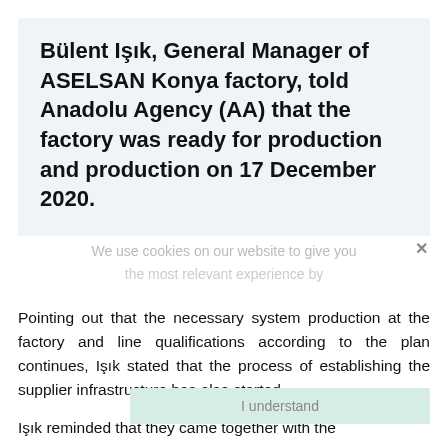Bülent Işık, General Manager of ASELSAN Konya factory, told Anadolu Agency (AA) that the factory was ready for production and production on 17 December 2020.
We use cookies on our website to give you the most relevant experience by
Pointing out that the necessary system production at the factory and line qualifications according to the plan continues, Işık stated that the process of establishing the supplier infrastructure has also started.
I understand
Işık reminded that they came together with the